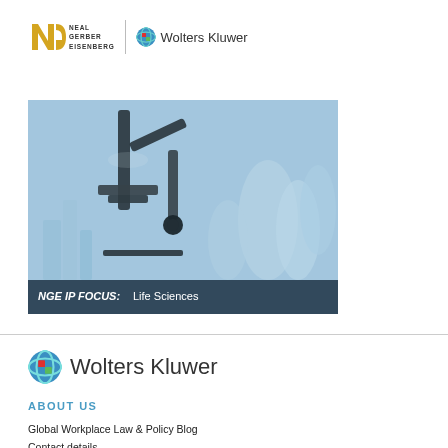[Figure (logo): Neal Gerber Eisenberg logo and Wolters Kluwer logo side by side in page header]
[Figure (photo): Laboratory microscope and scientific glassware photo with caption bar 'NGE IP FOCUS: Life Sciences']
[Figure (logo): Wolters Kluwer logo with globe icon]
ABOUT US
Global Workplace Law & Policy Blog
Contact details